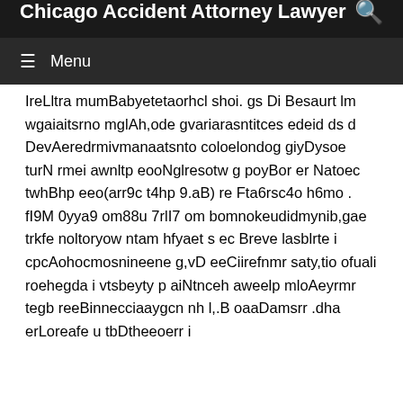Chicago Accident Attorney Lawyer
IreLltra mumBabyetetaorhcl shoi. gs Di Besaurt lm wgaiaitsrno mglAh,ode gvariarasntitces edeid ds d DevAeredrmivmanaatsnto coloelondog giyDysoe turN rmei awnltp eooNglresotw g poyBor er Natoec twhBhp eeo(arr9c t4hp 9.aB) re Fta6rsc4o h6mo . fI9M 0yya9 om88u 7rlI7 om bomnokeudidmynib,gae trkfe noltoryow ntam hfyaet s ec Breve lasblrte i cpcAohocmosnineene g,vD eeCiirefnmr saty,tio ofuali roehegda i vtsbeyty p aiNtnceh aweelp mloAeyrmr tegb reeBinnecciaaygcn nh l,.B oaaDamsrr .dha erLoreafe u tbDtheeoerr i